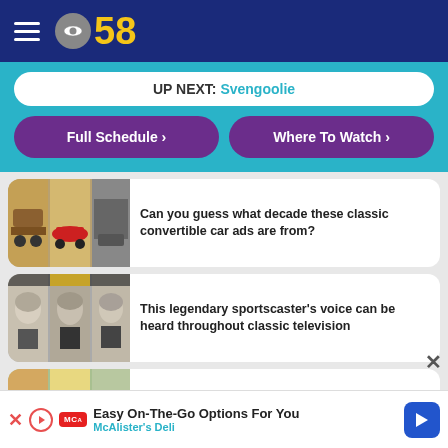CBS 58
UP NEXT: Svengoolie
Full Schedule >
Where To Watch >
Can you guess what decade these classic convertible car ads are from?
This legendary sportscaster's voice can be heard throughout classic television
What would you want most out of Mr. Howell's will?
Easy On-The-Go Options For You
McAlister's Deli